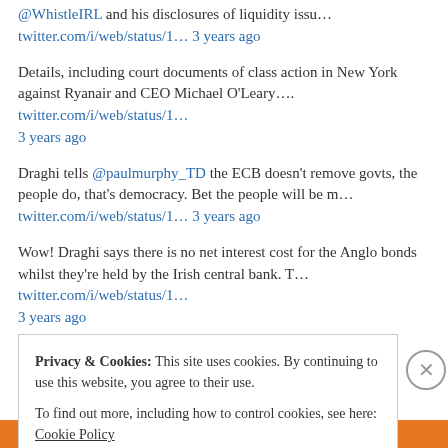@WhistleIRL and his disclosures of liquidity issu…
twitter.com/i/web/status/1… 3 years ago
Details, including court documents of class action in New York against Ryanair and CEO Michael O'Leary…. twitter.com/i/web/status/1… 3 years ago
Draghi tells @paulmurphy_TD the ECB doesn't remove govts, the people do, that's democracy. Bet the people will be m… twitter.com/i/web/status/1… 3 years ago
Wow! Draghi says there is no net interest cost for the Anglo bonds whilst they're held by the Irish central bank. T… twitter.com/i/web/status/1… 3 years ago
Privacy & Cookies: This site uses cookies. By continuing to use this website, you agree to their use.
To find out more, including how to control cookies, see here: Cookie Policy
Close and accept